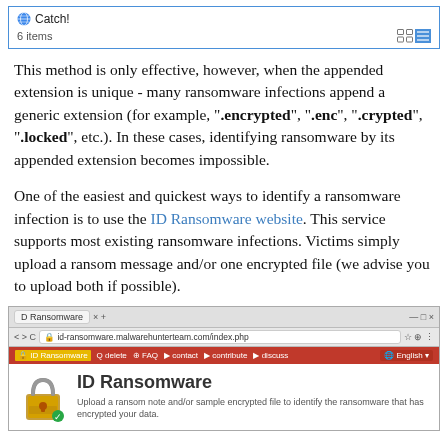[Figure (screenshot): Top portion of a file browser showing 'Catch!' label with globe icon and '6 items' count with view toggle icons]
This method is only effective, however, when the appended extension is unique - many ransomware infections append a generic extension (for example, ".encrypted", ".enc", ".crypted", ".locked", etc.). In these cases, identifying ransomware by its appended extension becomes impossible.
One of the easiest and quickest ways to identify a ransomware infection is to use the ID Ransomware website. This service supports most existing ransomware infections. Victims simply upload a ransom message and/or one encrypted file (we advise you to upload both if possible).
[Figure (screenshot): Browser screenshot showing ID Ransomware website at id-ransomware.malwarehunterteam.com with red navigation bar and padlock icon with title 'ID Ransomware' and subtitle 'Upload a ransom note and/or sample encrypted file to identify the ransomware that has encrypted your data.']